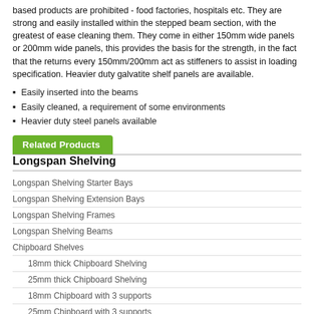based products are prohibited - food factories, hospitals etc. They are strong and easily installed within the stepped beam section, with the greatest of ease cleaning them. They come in either 150mm wide panels or 200mm wide panels, this provides the basis for the strength, in the fact that the returns every 150mm/200mm act as stiffeners to assist in loading specification. Heavier duty galvatite shelf panels are available.
Easily inserted into the beams
Easily cleaned, a requirement of some environments
Heavier duty steel panels available
Related Products
Longspan Shelving
Longspan Shelving Starter Bays
Longspan Shelving Extension Bays
Longspan Shelving Frames
Longspan Shelving Beams
Chipboard Shelves
18mm thick Chipboard Shelving
25mm thick Chipboard Shelving
18mm Chipboard with 3 supports
25mm Chipboard with 3 supports